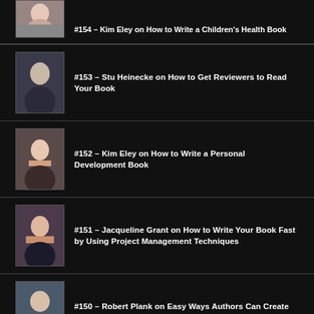#154 – Kim Eley on How to Write a Children's Health Book
#153 – Stu Heinecke on How to Get Reviewers to Read Your Book
#152 – Kim Eley on How to Write a Personal Development Book
#151 – Jacqueline Grant on How to Write Your Book Fast by Using Project Management Techniques
#150 – Robert Plank on Easy Ways Authors Can Create an Audiobook
Additional Resources for Authors